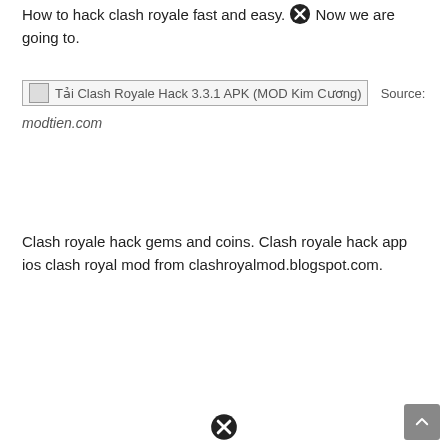How to hack clash royale fast and easy. Now we are going to.
[Figure (other): Broken image placeholder for 'Tải Clash Royale Hack 3.3.1 APK (MOD Kim Cương)' with Source: modtien.com label]
Clash royale hack gems and coins. Clash royale hack app ios clash royal mod from clashroyalmod.blogspot.com.